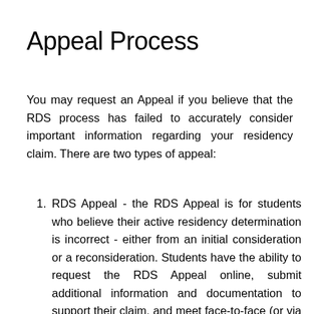Appeal Process
You may request an Appeal if you believe that the RDS process has failed to accurately consider important information regarding your residency claim. There are two types of appeal:
RDS Appeal - the RDS Appeal is for students who believe their active residency determination is incorrect - either from an initial consideration or a reconsideration. Students have the ability to request the RDS Appeal online, submit additional information and documentation to support their claim, and meet face-to-face (or via technology)